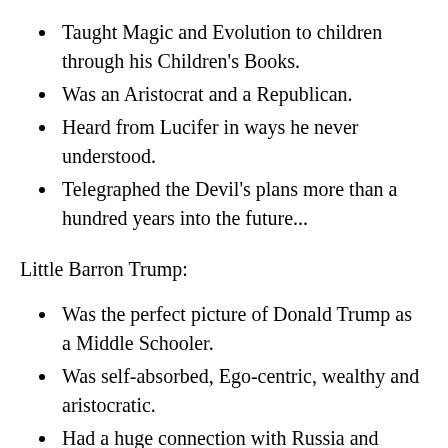Taught Magic and Evolution to children through his Children's Books.
Was an Aristocrat and a Republican.
Heard from Lucifer in ways he never understood.
Telegraphed the Devil's plans more than a hundred years into the future...
Little Barron Trump:
Was the perfect picture of Donald Trump as a Middle Schooler.
Was self-absorbed, Ego-centric, wealthy and aristocratic.
Had a huge connection with Russia and Russians, having many connections among